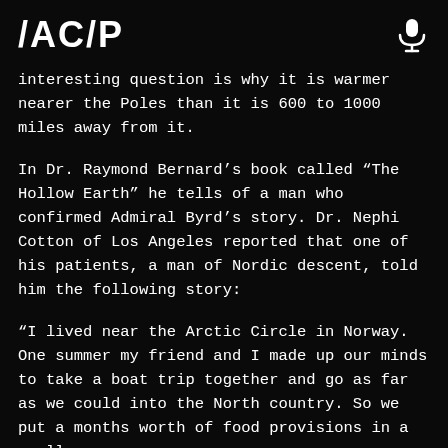ACAP
interesting question is why it is warmer nearer the Poles than it is 600 to 1000 miles away from it.
In Dr. Raymond Bernard’s book called “The Hollow Earth” he tells of a man who confirmed Admiral Byrd’s story. Dr. Nephi Cotton of Los Angeles reported that one of his patients, a man of Nordic descent, told him the following story:
“I lived near the Arctic Circle in Norway. One summer my friend and I made up our minds to take a boat trip together and go as far as we could into the North country. So we put a months worth of food provisions in a small